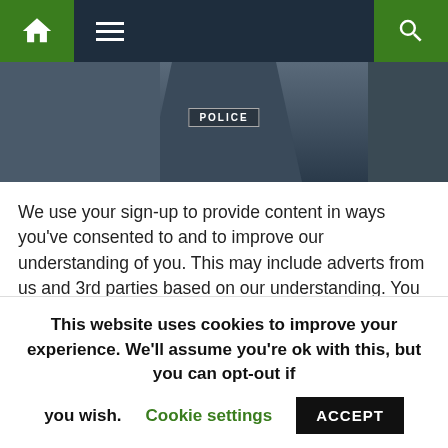Navigation bar with home, menu, and search icons
[Figure (photo): A person wearing a police tactical vest with POLICE text visible on the chest, dark background]
We use your sign-up to provide content in ways you've consented to and to improve our understanding of you. This may include adverts from us and 3rd parties based on our understanding. You can unsubscribe at any time. More info
Officers want to see who needs to be asked why they attended allegedly Covid rule-busting parties on government premises on eight dates. They range from May 20, 2020 to April 16, 2021, and include the Prime Minister's 56th
This website uses cookies to improve your experience. We'll assume you're ok with this, but you can opt-out if you wish. Cookie settings ACCEPT